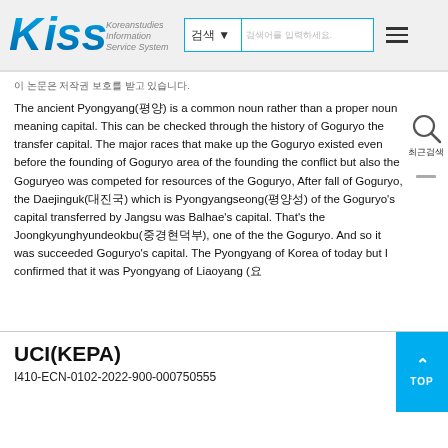[Figure (logo): KISS Koreanstudies Information Service System logo with blue gradient lettering]
이 논문은 저작권 보호를 받고 있습니다.
The ancient Pyongyang(평양) is a common noun rather than a proper noun meaning capital. This can be checked through the history of Goguryo the transfer capital. The major races that make up the Goguryo existed even before the founding of Goguryo area of the founding the conflict but also the Goguryeo was competed for resources of the Goguryo, After fall of Goguryo, the Daejinguk(대진국) which is Pyongyangseong(평양성) of the Goguryo's capital transferred by Jangsu was Balhae's capital. That's the Joongkyunghyundeokbu(중경현덕부), one of the the Goguryo. And so it was succeeded Goguryo's capital. The Pyongyang of Korea of today but I confirmed that it was Pyongyang of Liaoyang (요
UCI(KEPA)
I410-ECN-0102-2022-900-000750555